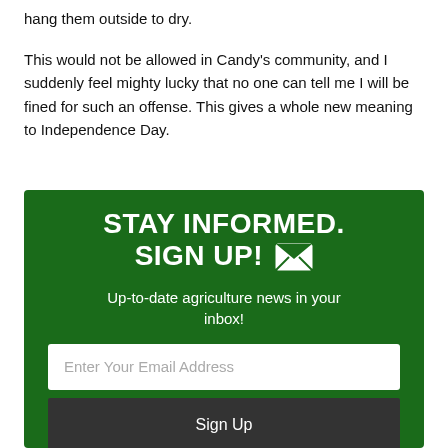hang them outside to dry.
This would not be allowed in Candy's community, and I suddenly feel mighty lucky that no one can tell me I will be fined for such an offense. This gives a whole new meaning to Independence Day.
[Figure (infographic): Green signup box with heading 'STAY INFORMED. SIGN UP!' with envelope icon, subtext 'Up-to-date agriculture news in your inbox!', an email input field, and a dark Sign Up button.]